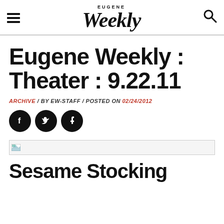EUGENE Weekly
Eugene Weekly : Theater : 9.22.11
ARCHIVE / BY EW-STAFF / POSTED ON 02/24/2012
[Figure (other): Social media share icons: Facebook, Twitter, Tumblr]
[Figure (other): Broken/loading image placeholder]
Sesame Stocking